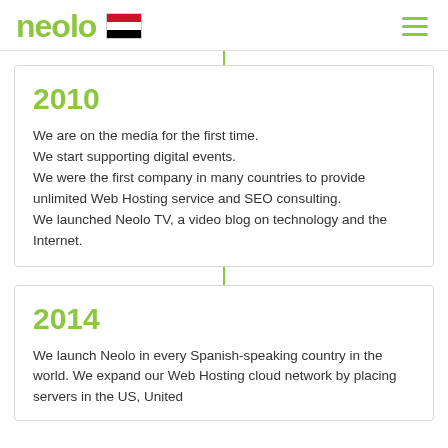neolo
2010
We are on the media for the first time.
We start supporting digital events.
We were the first company in many countries to provide unlimited Web Hosting service and SEO consulting.
We launched Neolo TV, a video blog on technology and the Internet.
2014
We launch Neolo in every Spanish-speaking country in the world. We expand our Web Hosting cloud network by placing servers in the US, United